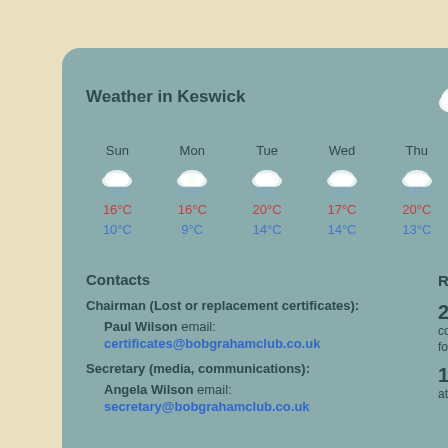Weather in Keswick
16°C broken clouds
| Sun | Mon | Tue | Wed | Thu | Fri | Sat |
| --- | --- | --- | --- | --- | --- | --- |
| (rain icon) | (rain icon) | (rain icon) | (rain icon) | (rain icon) | (rain icon) | (rain icon) |
| 16°C | 16°C | 20°C | 17°C | 20°C | 16°C | 12°C |
| 10°C | 9°C | 14°C | 14°C | 13°C | 12°C | 11°C |
Contacts
Round info for 2022
Chairman (Lost or replacement certificates):
Paul Wilson email: certificates@bobgrahamclub.co.uk
Secretary (media, communications):
Angela Wilson email: secretary@bobgrahamclub.co.uk
212 contenders registered so far for this year
197 attempts so far this